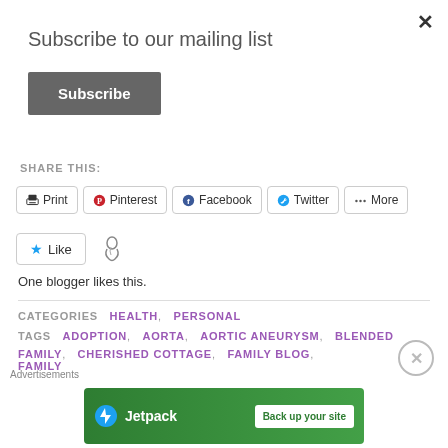×
Subscribe to our mailing list
[Figure (screenshot): Subscribe button — dark grey button with white bold text 'Subscribe']
SHARE THIS:
[Figure (screenshot): Share buttons row: Print, Pinterest, Facebook, Twitter, More]
[Figure (screenshot): Like button with star icon and blogger avatar icon]
One blogger likes this.
CATEGORIES  HEALTH,  PERSONAL
TAGS  ADOPTION,  AORTA,  AORTIC ANEURYSM,  BLENDED FAMILY,  CHERISHED COTTAGE,  FAMILY BLOG,  FAMILY
[Figure (screenshot): Close/dismiss circle button (X in circle)]
[Figure (screenshot): Jetpack advertisement banner — green background with Jetpack logo and 'Back up your site' button]